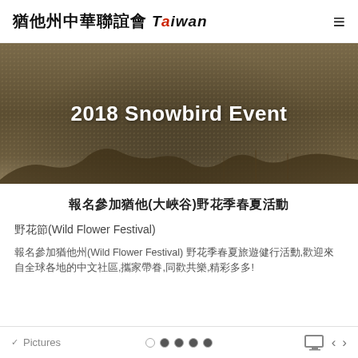猶他州中華聯誼會 Taiwan  ☰
[Figure (photo): Hero banner with dark brownish-gold textured background, dotted overlay, and landscape silhouette at the bottom. White bold text reads '2018 Snowbird Event' centered.]
報名參加猶他(大峽谷)野花季春夏活動
野花節(Wild Flower Festival)
報名參加猶他州(Wild Flower Festival) 野花季春夏旅遊健行活動,歡迎來自全球各地的中文社區,攜家帶眷,同歡共樂,精彩多多!
✓ Pictures  ○ ● ● ● ●  🖥  ‹  ›